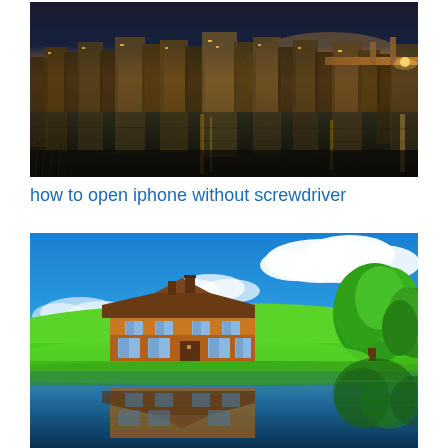[Figure (photo): Night cityscape with buildings reflected in water, warm orange and gold tones with dark blue sky]
how to open iphone without screwdriver
[Figure (photo): Daytime nature scene with a wooden house on a green meadow, blue sky with white clouds, and a reflective pond in the foreground]